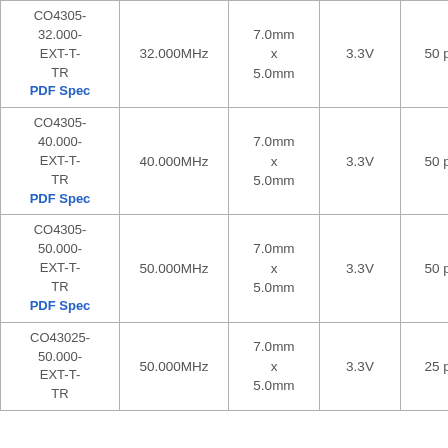| CO4305-32.000-EXT-T-TR
PDF Spec | 32.000MHz | 7.0mm x 5.0mm | 3.3V | 50 ppm |
| CO4305-40.000-EXT-T-TR
PDF Spec | 40.000MHz | 7.0mm x 5.0mm | 3.3V | 50 ppm |
| CO4305-50.000-EXT-T-TR
PDF Spec | 50.000MHz | 7.0mm x 5.0mm | 3.3V | 50 ppm |
| CO43025-50.000-EXT-T-TR | 50.000MHz | 7.0mm x 5.0mm | 3.3V | 25 ppm |